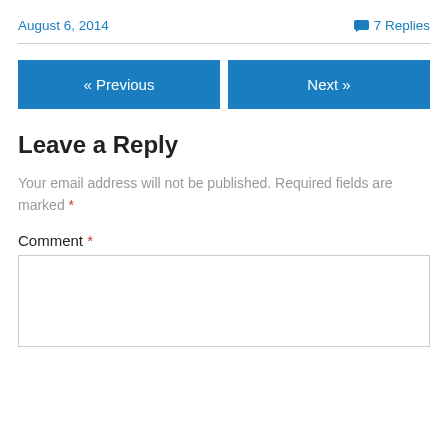August 6, 2014
💬 7 Replies
« Previous
Next »
Leave a Reply
Your email address will not be published. Required fields are marked *
Comment *